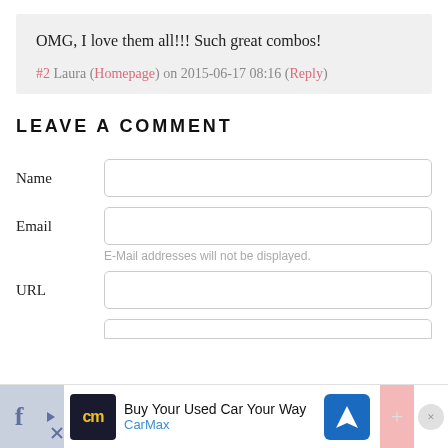OMG, I love them all!!! Such great combos!
#2 Laura (Homepage) on 2015-06-17 08:16 (Reply)
LEAVE A COMMENT
Name
Email
E-Mail addresses will not be displayed.
URL
[Figure (screenshot): Bottom advertisement bar: CarMax 'Buy Your Used Car Your Way' ad with navigation arrow icon, social sharing icons]